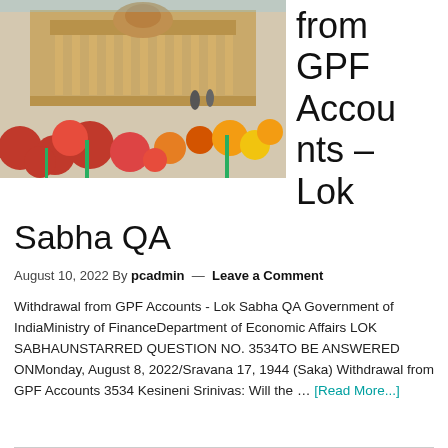[Figure (photo): Photo of Indian Parliament building with colorful flowers in the foreground]
from GPF Accounts – Lok Sabha QA
August 10, 2022 By pcadmin — Leave a Comment
Withdrawal from GPF Accounts - Lok Sabha QA Government of IndiaMinistry of FinanceDepartment of Economic Affairs LOK SABHAUNSTARRED QUESTION NO. 3534TO BE ANSWERED ONMonday, August 8, 2022/Sravana 17, 1944 (Saka) Withdrawal from GPF Accounts 3534 Kesineni Srinivas: Will the … [Read More...]